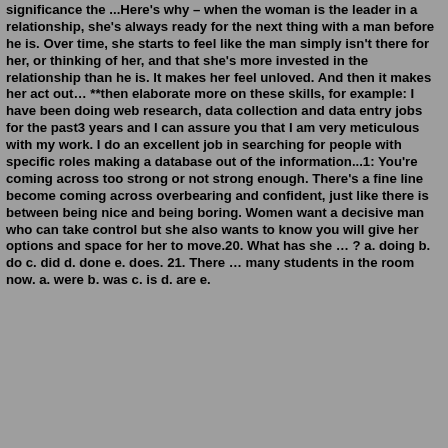significance the ...Here's why – when the woman is the leader in a relationship, she's always ready for the next thing with a man before he is. Over time, she starts to feel like the man simply isn't there for her, or thinking of her, and that she's more invested in the relationship than he is. It makes her feel unloved. And then it makes her act out… **then elaborate more on these skills, for example: I have been doing web research, data collection and data entry jobs for the past3 years and I can assure you that I am very meticulous with my work. I do an excellent job in searching for people with specific roles making a database out of the information...1: You're coming across too strong or not strong enough. There's a fine line become coming across overbearing and confident, just like there is between being nice and being boring. Women want a decisive man who can take control but she also wants to know you will give her options and space for her to move.20. What has she … ? a. doing b. do c. did d. done e. does. 21. There … many students in the room now. a. were b. was c. is d. are e.